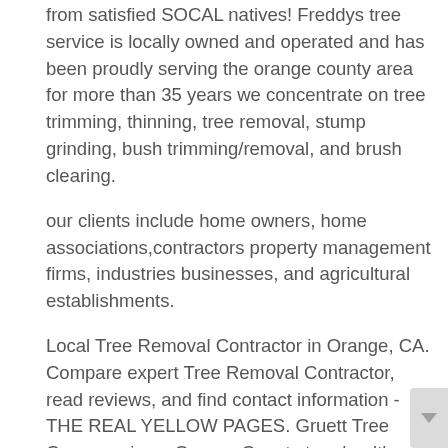from satisfied SOCAL natives! Freddys tree service is locally owned and operated and has been proudly serving the orange county area for more than 35 years we concentrate on tree trimming, thinning, tree removal, stump grinding, bush trimming/removal, and brush clearing.
our clients include home owners, home associations,contractors property management firms, industries businesses, and agricultural establishments.
Local Tree Removal Contractor in Orange, CA. Compare expert Tree Removal Contractor, read reviews, and find contact information - THE REAL YELLOW PAGES. Gruett Tree Company is an Orange County tree healthcare and landscaping service that has been serving Orange County and Southern California residential, commercial and municipal clients since Our family-owned and operated professional business is fully licensed, bonded and insured.
This project consists of removing two large Queen Palms and